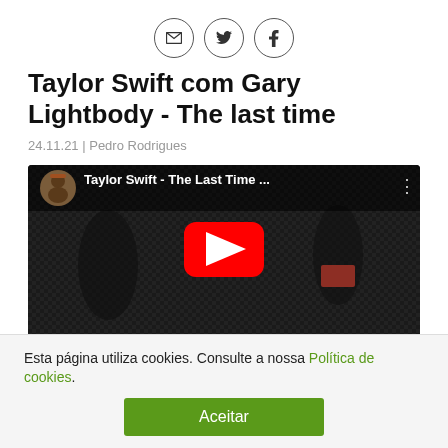[Figure (other): Three social sharing icon buttons in circles: email (envelope), Twitter (bird), Facebook (f)]
Taylor Swift com Gary Lightbody - The last time
24.11.21 | Pedro Rodrigues
[Figure (screenshot): YouTube video embed showing Taylor Swift - The Last Time music video thumbnail with red play button, circular artist thumbnail in top-left corner]
Esta página utiliza cookies. Consulte a nossa Política de cookies.
Aceitar